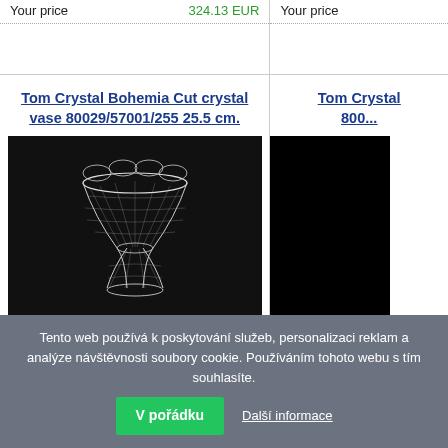Your price
324.13 EUR
Your price
Tom Crystal Bohemia Cut crystal vase 80029/57001/255 25.5 cm.
Tom Crystal 800...
[Figure (photo): A cut crystal vase with flared top and intricate cut pattern, photographed against a dark/black background.]
[Figure (photo): Partial view of another product image against black background.]
Tento web používá k poskytování služeb, personalizaci reklam a analýze návštěvnosti soubory cookie. Používáním tohoto webu s tím souhlasíte.
V pořádku
Další informace